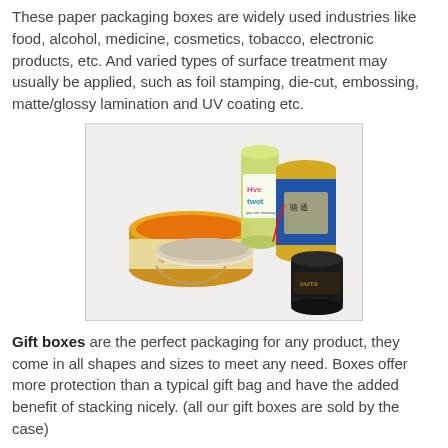These paper packaging boxes are widely used industries like food, alcohol, medicine, cosmetics, tobacco, electronic products, etc. And varied types of surface treatment may usually be applied, such as foil stamping, die-cut, embossing, matte/glossy lamination and UV coating etc.
[Figure (photo): Photo of several cylindrical paper packaging boxes and tubes: an open yellow/cream round box with lid, a green cylinder with colorful label reading 'hve twot', a blue and gold cylindrical gift box with Asian-style label and red tassel, and a black cylindrical tube with decorative label.]
Gift boxes are the perfect packaging for any product, they come in all shapes and sizes to meet any need. Boxes offer more protection than a typical gift bag and have the added benefit of stacking nicely. (all our gift boxes are sold by the case)